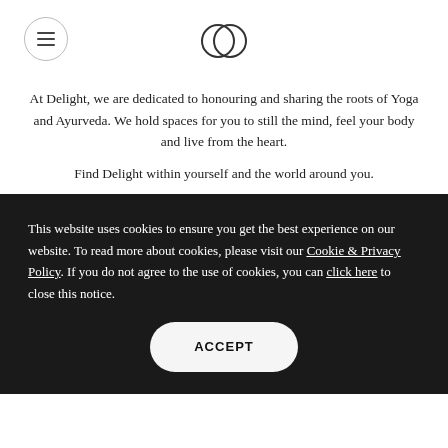[Menu icon] [Logo: two overlapping circles]
At Delight, we are dedicated to honouring and sharing the roots of Yoga and Ayurveda. We hold spaces for you to still the mind, feel your body and live from the heart.

Find Delight within yourself and the world around you.
This website uses cookies to ensure you get the best experience on our website. To read more about cookies, please visit our Cookie & Privacy Policy. If you do not agree to the use of cookies, you can click here to close this notice.
ACCEPT